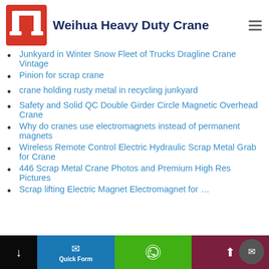Weihua Heavy Duty Crane
Junkyard in Winter Snow Fleet of Trucks Dragline Crane Vintage
Pinion for scrap crane
crane holding rusty metal in recycling junkyard
Safety and Solid QC Double Girder Circle Magnetic Overhead Crane
Why do cranes use electromagnets instead of permanent magnets
Wireless Remote Control Electric Hydraulic Scrap Metal Grab for Crane
446 Scrap Metal Crane Photos and Premium High Res Pictures
Scrap lifting Electric Magnet Electromagnet for…
Quick Form